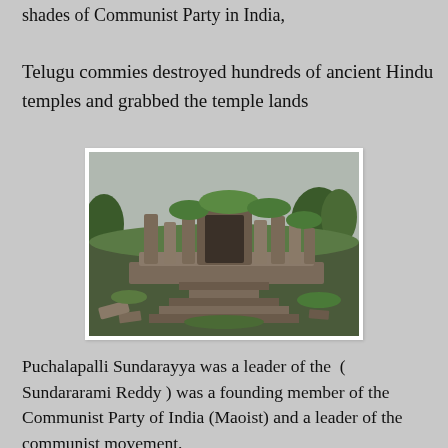shades of Communist Party in India,
Telugu commies destroyed hundreds of ancient Hindu temples and grabbed the temple lands
[Figure (photo): Ruins of an ancient Hindu temple with stone pillars and arched gateway overgrown with vegetation, stone steps in foreground, trees in background]
Puchalapalli Sundarayya was a leader of the  ( Sundararami Reddy ) was a founding member of the Communist Party of India (Maoist) and a leader of the communist movement.